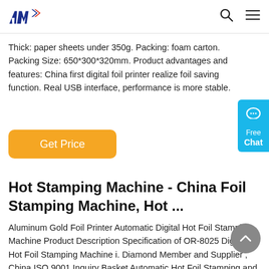[Figure (logo): AIM logo with stylized 'AIM' letters in dark blue/navy]
Thick: paper sheets under 350g. Packing: foam carton. Packing Size: 650*300*320mm. Product advantages and features: China first digital foil printer realize foil saving function. Real USB interface, performance is more stable.
[Figure (other): Get Price orange button]
[Figure (other): Free Chat widget in blue on right side]
Hot Stamping Machine - China Foil Stamping Machine, Hot ...
Aluminum Gold Foil Printer Automatic Digital Hot Foil Stamping Machine Product Description Specification of OR-8025 Digital Hot Foil Stamping Machine i. Diamond Member and Supplier , China ISO 9001 Inquiry Basket Automatic Hot Foil Stamping and Die Cutting Machine with Stripping